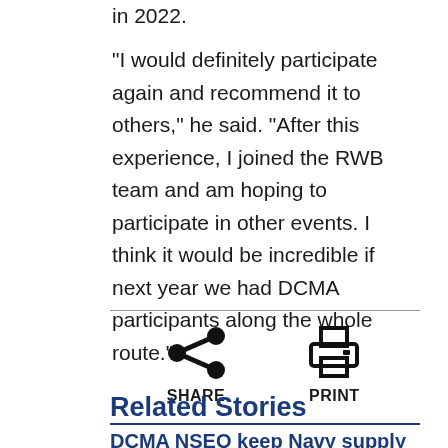in 2022.
“I would definitely participate again and recommend it to others,” he said. “After this experience, I joined the RWB team and am hoping to participate in other events. I think it would be incredible if next year we had DCMA participants along the whole route.”
[Figure (infographic): Share and Print icons with labels SHARE and PRINT]
Related Stories
DCMA NSEO keep Navy supply chain,